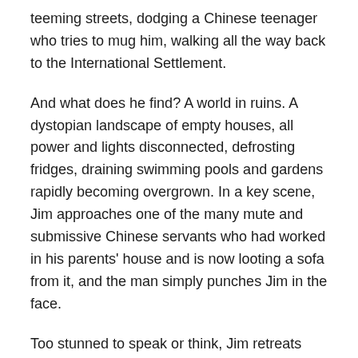teeming streets, dodging a Chinese teenager who tries to mug him, walking all the way back to the International Settlement.
And what does he find? A world in ruins. A dystopian landscape of empty houses, all power and lights disconnected, defrosting fridges, draining swimming pools and gardens rapidly becoming overgrown. In a key scene, Jim approaches one of the many mute and submissive Chinese servants who had worked in his parents' house and is now looting a sofa from it, and the man simply punches Jim in the face.
Too stunned to speak or think, Jim retreats and hides, finding refuge in these abandoned, dark and dangerous places, formerly the scene of so much jollity. The narrative shows Jim hiding out for weeks, initially enjoying himself